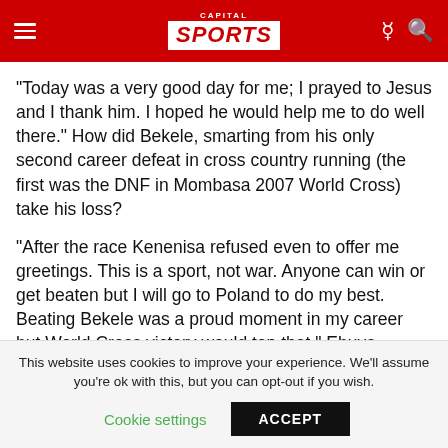Capital Sports
"Today was a very good day for me; I prayed to Jesus and I thank him. I hoped he would help me to do well there." How did Bekele, smarting from his only second career defeat in cross country running (the first was the DNF in Mombasa 2007 World Cross) take his loss?
"After the race Kenenisa refused even to offer me greetings. This is a sport, not war. Anyone can win or get beaten but I will go to Poland to do my best. Beating Bekele was a proud moment in my career but World Cross victory would top that," Ebuya revealed.
This website uses cookies to improve your experience. We'll assume you're ok with this, but you can opt-out if you wish. Cookie settings ACCEPT